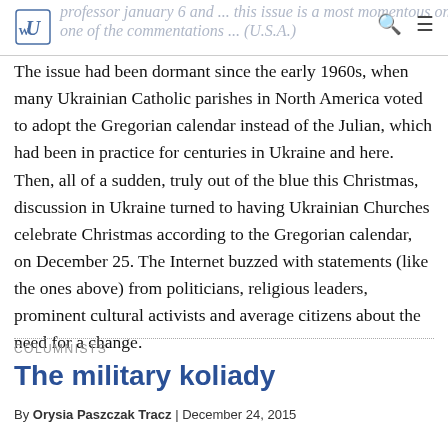UW logo header with search and menu icons
The issue had been dormant since the early 1960s, when many Ukrainian Catholic parishes in North America voted to adopt the Gregorian calendar instead of the Julian, which had been in practice for centuries in Ukraine and here. Then, all of a sudden, truly out of the blue this Christmas, discussion in Ukraine turned to having Ukrainian Churches celebrate Christmas according to the Gregorian calendar, on December 25. The Internet buzzed with statements (like the ones above) from politicians, religious leaders, prominent cultural activists and average citizens about the need for a change.
COLUMNISTS
The military koliady
By Orysia Paszczak Tracz | December 24, 2015